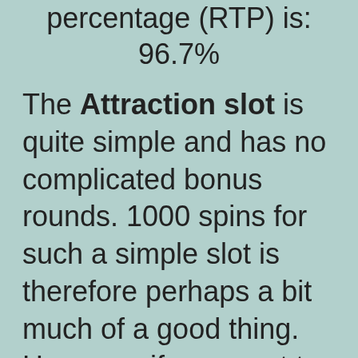percentage (RTP) is: 96.7%
The Attraction slot is quite simple and has no complicated bonus rounds. 1000 spins for such a simple slot is therefore perhaps a bit much of a good thing. However, if you want to take a short gamble, it is definitely worth it, especially since you never have to wait long for the feature.
Other fun games that you can play, go visit pkv judi qq for the best experience gambling. You can have big winnings even with small bets.